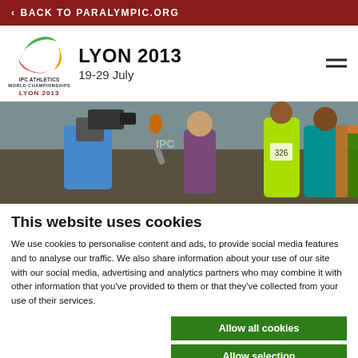< BACK TO PARALYMPIC.ORG
LYON 2013
19-29 July
[Figure (photo): Sports photo showing camera crew interviewing athlete on left and runners in colorful jerseys on right at athletic event]
This website uses cookies
We use cookies to personalise content and ads, to provide social media features and to analyse our traffic. We also share information about your use of our site with our social media, advertising and analytics partners who may combine it with other information that you've provided to them or that they've collected from your use of their services.
Allow all cookies
Allow selection
Use necessary cookies only
Necessary   Preferences   Statistics   Show details
Marketing
"I am really happy, I had goo sensations on the track even if I did